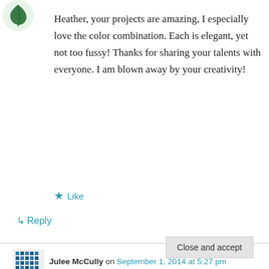[Figure (illustration): Green decorative leaf/flower avatar icon in top-left corner]
Heather, your projects are amazing, I especially love the color combination. Each is elegant, yet not too fussy! Thanks for sharing your talents with everyone. I am blown away by your creativity!
★ Like
↳ Reply
Julee McCully on September 1, 2014 at 5:27 pm
Privacy & Cookies: This site uses cookies. By continuing to use this website, you agree to their use.
To find out more, including how to control cookies, see here: Cookie Policy
Close and accept